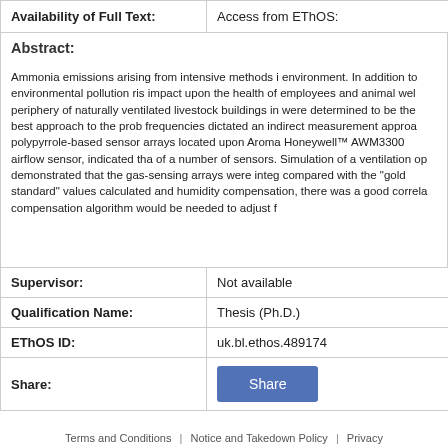| Availability of Full Text: | Access from EThOS: |
| --- | --- |
Abstract:
Ammonia emissions arising from intensive methods i... environment. In addition to environmental pollution ris... impact upon the health of employees and animal wel... periphery of naturally ventilated livestock buildings in... were determined to be the best approach to the prob... frequencies dictated an indirect measurement approa... polypyrrole-based sensor arrays located upon Arom... Honeywell™ AWM3300 airflow sensor, indicated tha... of a number of sensors. Simulation of a ventilation op... demonstrated that the gas-sensing arrays were integ... compared with the "gold standard" values calculated... and humidity compensation, there was a good correla... compensation algorithm would be needed to adjust f...
| Supervisor: | Not available |
| --- | --- |
| Qualification Name: | Thesis (Ph.D.) |
| --- | --- |
| EThOS ID: | uk.bl.ethos.489174 |
| --- | --- |
| Share: | Share button |
| --- | --- |
Terms and Conditions | Notice and Takedown Policy | Privacy